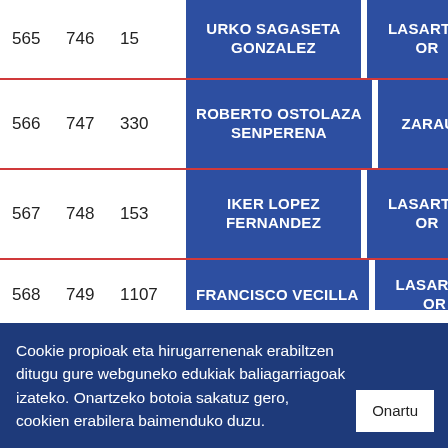| #1 | #2 | #3 | Name | Location |
| --- | --- | --- | --- | --- |
| 565 | 746 | 15 | URKO SAGASETA GONZALEZ | LASARTE-OR |
| 566 | 747 | 330 | ROBERTO OSTOLAZA SENPERENA | ZARAUTZ |
| 567 | 748 | 153 | IKER LOPEZ FERNANDEZ | LASARTE-OR |
| 568 | 749 | 1107 | FRANCISCO VECILLA | LASARTE-OR |
Cookie propioak eta hirugarrenenak erabiltzen ditugu gure webguneko edukiak baliagarriagoak izateko. Onartzeko botoia sakatuz gero, cookien erabilera baimenduko duzu.